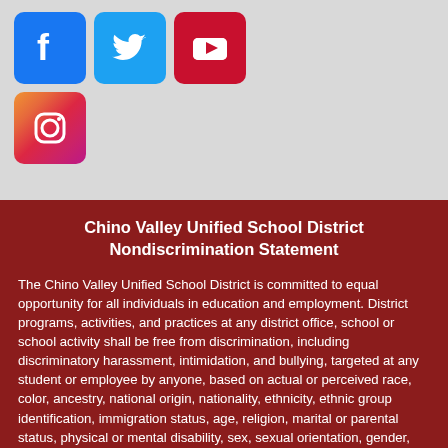[Figure (logo): Social media icons: Facebook (blue), Twitter (light blue), YouTube (red) on first row; Instagram (gradient) on second row, displayed on a light gray background]
Chino Valley Unified School District Nondiscrimination Statement
The Chino Valley Unified School District is committed to equal opportunity for all individuals in education and employment. District programs, activities, and practices at any district office, school or school activity shall be free from discrimination, including discriminatory harassment, intimidation, and bullying, targeted at any student or employee by anyone, based on actual or perceived race, color, ancestry, national origin, nationality, ethnicity, ethnic group identification, immigration status, age, religion, marital or parental status, physical or mental disability, sex, sexual orientation, gender, gender identity, or gender expression or association with a person or group with one or more of these actual or perceived characteristics. (CVUSD BP 410, 1312.3, 5131.2, 5145.3, 5145.7,